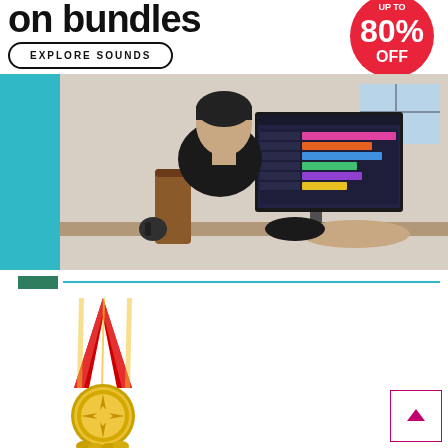on bundles
EXPLORE SOUNDS
[Figure (infographic): Red circular badge with 'UP TO 80% OFF' text in white on red background]
[Figure (photo): Person sitting at desk working on computer with music production software, teal curved background shape on left]
[Figure (illustration): Gold medal with red and yellow ribbon]
[Figure (other): Back-to-top button with pink/magenta border and upward arrow]